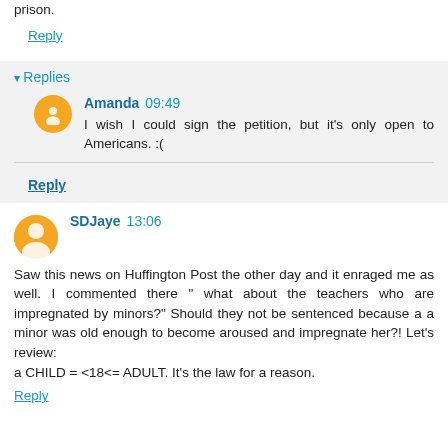disgusting teacher gets his own at the very least while in prison.
Reply
Replies
Amanda 09:49
I wish I could sign the petition, but it's only open to Americans. :(
Reply
SDJaye 13:06
Saw this news on Huffington Post the other day and it enraged me as well. I commented there " what about the teachers who are impregnated by minors?" Should they not be sentenced because a a minor was old enough to become aroused and impregnate her?! Let's review:
a CHILD = <18<= ADULT. It's the law for a reason.
Reply